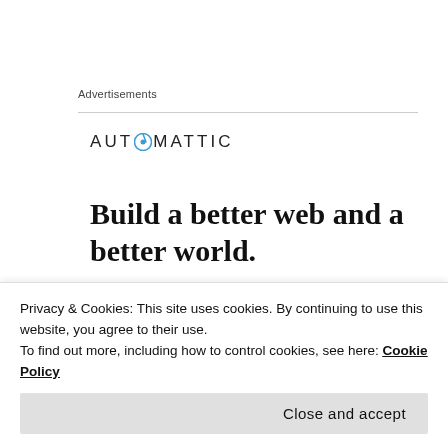Advertisements
[Figure (logo): Automattic logo with compass icon replacing the 'O' in AUTOMATTIC]
Build a better web and a better world.
[Figure (photo): Partial avatar photo showing top of a person's head with brown hair, next to username LIONELSNOD]
LIONELSNOD
Privacy & Cookies: This site uses cookies. By continuing to use this website, you agree to their use.
To find out more, including how to control cookies, see here: Cookie Policy
Close and accept